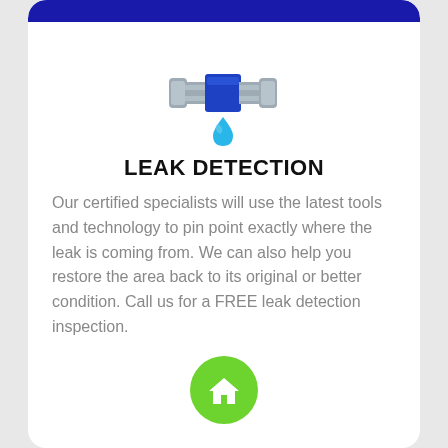[Figure (illustration): Pipe with water drop leaking icon — a horizontal grey/silver pipe with blue center section and a cyan teardrop water drop falling below]
LEAK DETECTION
Our certified specialists will use the latest tools and technology to pin point exactly where the leak is coming from. We can also help you restore the area back to its original or better condition. Call us for a FREE leak detection inspection.
[Figure (illustration): Green circular button with white house/home icon]